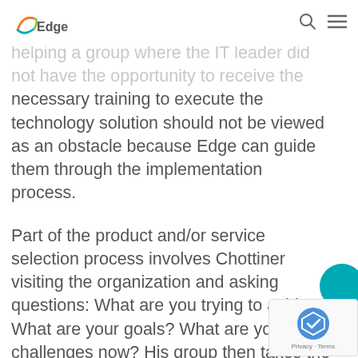Edge [logo]
helping a group where the IT leader did not have the opportunity to receive the necessary training to execute the technology solution should not be viewed as an obstacle because Edge can guide them through the implementation process.
Part of the product and/or service selection process involves Chottiner visiting the organization and asking questions: What are you trying to achieve? What are your goals? What are your challenges now? His group then takes the needed requirements and designs and develops a solution that is affordable and sustainable. The Edge team can then help level the playing field so affordable technologies can be introduced and all of